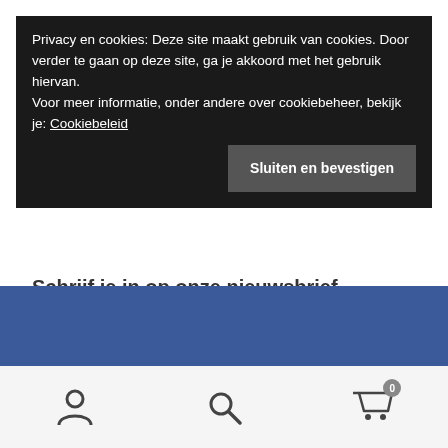Privacy en cookies: Deze site maakt gebruik van cookies. Door verder te gaan op deze site, ga je akkoord met het gebruik hiervan.
Voor meer informatie, onder andere over cookiebeheer, bekijk je: Cookiebeleid
Sluiten en bevestigen
Schrijf je in op onze nieuwsbrief
e-mailadres
Inschrijven
[Figure (other): Blue footer bar]
[Figure (other): Bottom navigation bar with person icon, search icon, and shopping cart icon with badge showing 0]